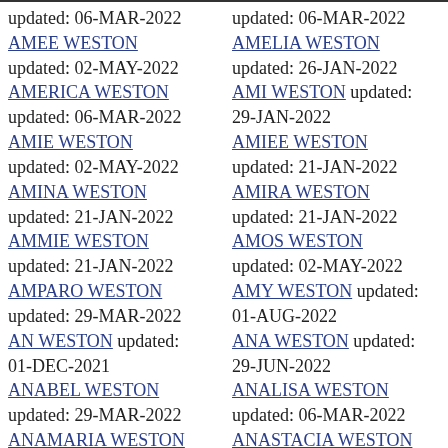updated: 06-MAR-2022
AMEE WESTON
updated: 02-MAY-2022
AMERICA WESTON
updated: 06-MAR-2022
AMIE WESTON
updated: 02-MAY-2022
AMINA WESTON
updated: 21-JAN-2022
AMMIE WESTON
updated: 21-JAN-2022
AMPARO WESTON
updated: 29-MAR-2022
AN WESTON updated: 01-DEC-2021
ANABEL WESTON
updated: 29-MAR-2022
ANAMARIA WESTON
updated: 03-JUL-2022
ANASTASIA WESTON
updated: 06-MAR-2022
AMELIA WESTON
updated: 26-JAN-2022
AMI WESTON updated: 29-JAN-2022
AMIEE WESTON
updated: 21-JAN-2022
AMIRA WESTON
updated: 21-JAN-2022
AMOS WESTON
updated: 02-MAY-2022
AMY WESTON updated: 01-AUG-2022
ANA WESTON updated: 29-JUN-2022
ANALISA WESTON
updated: 06-MAR-2022
ANASTACIA WESTON
updated: 26-JUN-2022
ANETA WESTON